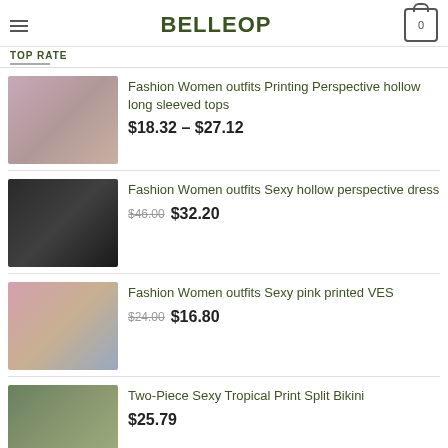BELLEOP
TOP RATE
Fashion Women outfits Printing Perspective hollow long sleeved tops $18.32 – $27.12
Fashion Women outfits Sexy hollow perspective dress $46.00 $32.20
Fashion Women outfits Sexy pink printed VES $24.00 $16.80
Two-Piece Sexy Tropical Print Split Bikini $25.79